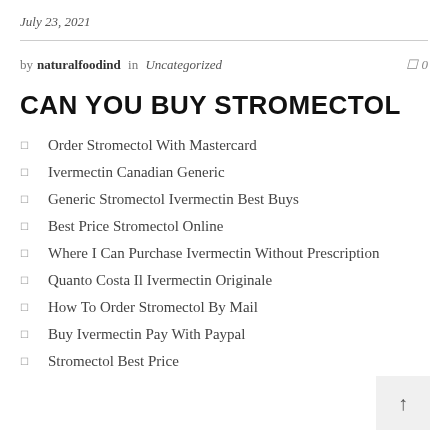July 23, 2021
by naturalfoodind in Uncategorized  0
CAN YOU BUY STROMECTOL
Order Stromectol With Mastercard
Ivermectin Canadian Generic
Generic Stromectol Ivermectin Best Buys
Best Price Stromectol Online
Where I Can Purchase Ivermectin Without Prescription
Quanto Costa Il Ivermectin Originale
How To Order Stromectol By Mail
Buy Ivermectin Pay With Paypal
Stromectol Best Price